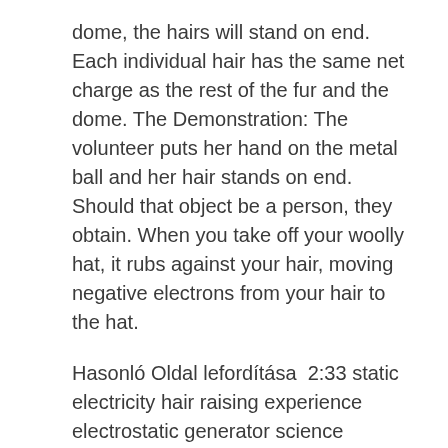dome, the hairs will stand on end. Each individual hair has the same net charge as the rest of the fur and the dome. The Demonstration: The volunteer puts her hand on the metal ball and her hair stands on end. Should that object be a person, they obtain. When you take off your woolly hat, it rubs against your hair, moving negative electrons from your hair to the hat.
Hasonló Oldal lefordítása  2:33 static electricity hair raising experience electrostatic generator science physics boy bowl-cut bad-hair -day.
Van de graaff generator 400kv